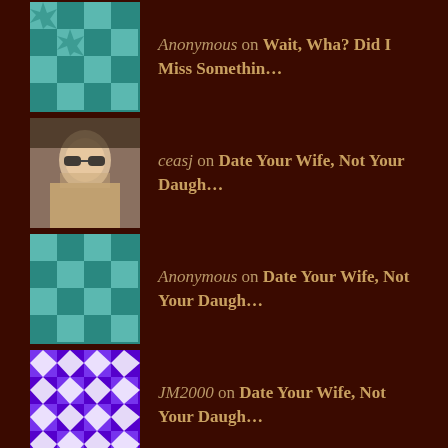Anonymous on Wait, Wha? Did I Miss Somethin…
ceasj on Date Your Wife, Not Your Daugh…
Anonymous on Date Your Wife, Not Your Daugh…
JM2000 on Date Your Wife, Not Your Daugh…
ARCHIVES
» January 2021
» October 2020
» September 2020
» February 2020
» September 20…